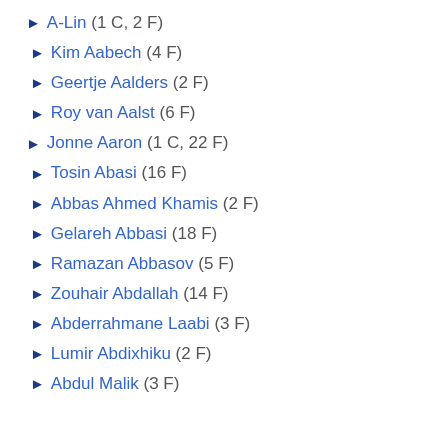▶ A-Lin (1 C, 2 F)
► Kim Aabech (4 F)
► Geertje Aalders (2 F)
► Roy van Aalst (6 F)
▶ Jonne Aaron (1 C, 22 F)
► Tosin Abasi (16 F)
► Abbas Ahmed Khamis (2 F)
► Gelareh Abbasi (18 F)
► Ramazan Abbasov (5 F)
► Zouhair Abdallah (14 F)
► Abderrahmane Laabi (3 F)
► Lumir Abdixhiku (2 F)
► Abdul Malik (3 F)